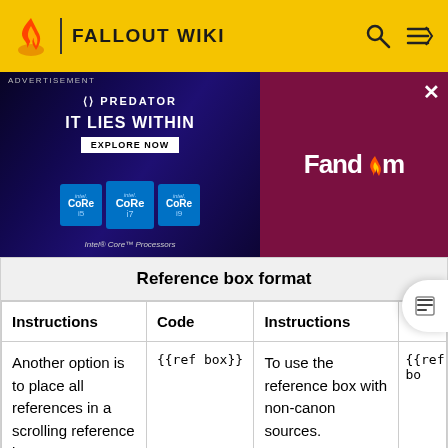FALLOUT WIKI
[Figure (screenshot): Advertisement banner for Acer Predator featuring Intel Core Processors and Fandom logo]
| Instructions | Code | Instructions |  |
| --- | --- | --- | --- |
| Another option is to place all references in a scrolling reference box. | {{ref box}} | To use the reference box with non-canon sources. | {{ref bo |